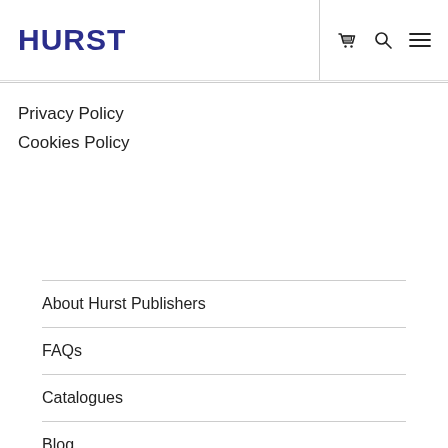HURST
Privacy Policy
Cookies Policy
About Hurst Publishers
FAQs
Catalogues
Blog